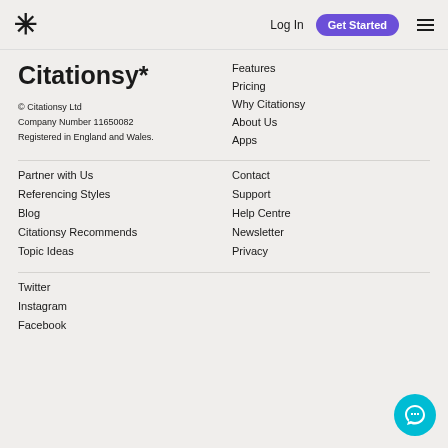* Log In  Get Started  ≡
Citationsy*
© Citationsy Ltd
Company Number 11650082
Registered in England and Wales.
Features
Pricing
Why Citationsy
About Us
Apps
Partner with Us
Referencing Styles
Blog
Citationsy Recommends
Topic Ideas
Contact
Support
Help Centre
Newsletter
Privacy
Twitter
Instagram
Facebook